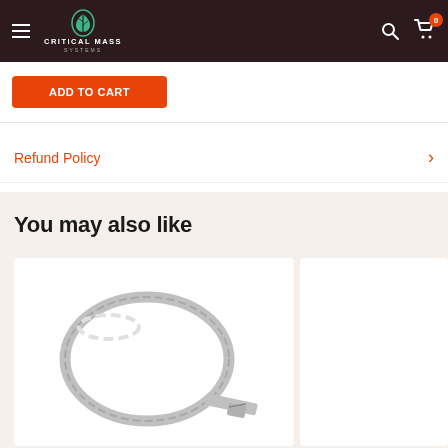Critical Mass Systems
Add to Cart button
Refund Policy
You may also like
[Figure (photo): Stainless steel hose clamp, circular, on white background]